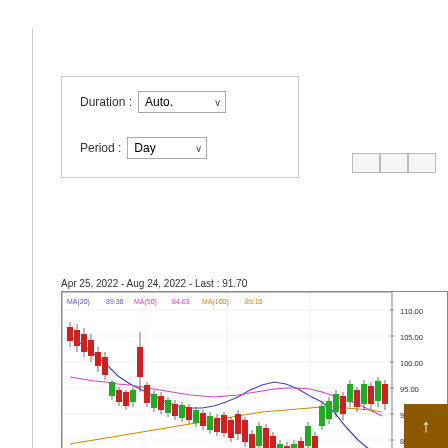[Figure (screenshot): Duration dropdown set to 'Auto.' and Period dropdown set to 'Day' inside a bordered form box]
[Figure (continuous-plot): Candlestick stock chart from Apr 25, 2022 to Aug 24, 2022, Last: 91.70. Shows MA(20)=89.38 in blue, MA(50)=84.63 in magenta, MA(100)=89.10 in orange. Y-axis ranges from ~80.00 to 110.00. Price action shown with red/green candlesticks.]